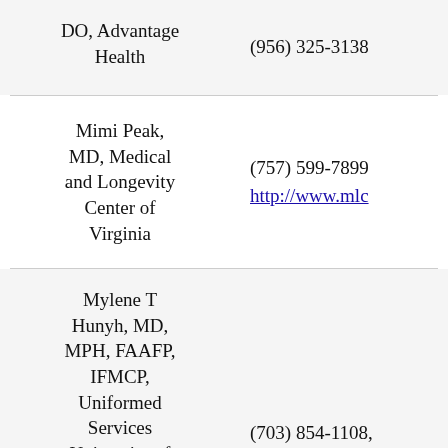| Provider | Contact |
| --- | --- |
| DO, Advantage Health | (956) 325-3138 |
| Mimi Peak, MD, Medical and Longevity Center of Virginia | (757) 599-7899
http://www.mlc |
| Mylene T Hunyh, MD, MPH, FAAFP, IFMCP, Uniformed Services University of the Health | (703) 854-1108,
https://www.tru |